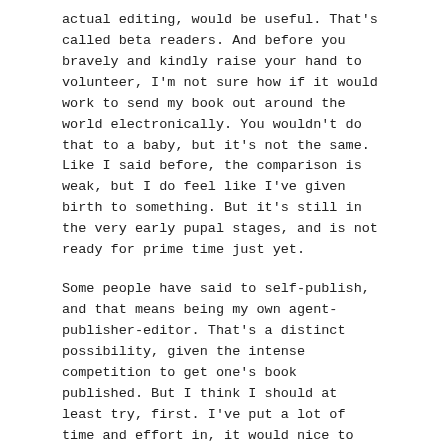actual editing, would be useful. That's called beta readers. And before you bravely and kindly raise your hand to volunteer, I'm not sure how if it would work to send my book out around the world electronically. You wouldn't do that to a baby, but it's not the same. Like I said before, the comparison is weak, but I do feel like I've given birth to something. But it's still in the very early pupal stages, and is not ready for prime time just yet.
Some people have said to self-publish, and that means being my own agent-publisher-editor. That's a distinct possibility, given the intense competition to get one's book published. But I think I should at least try, first. I've put a lot of time and effort in, it would nice to make a little money off of it. Though that's not the primary motivator. I want to tell my